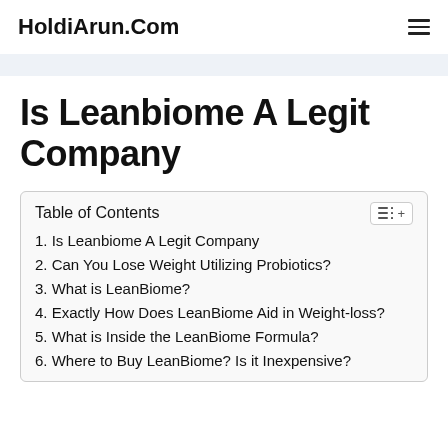HoldiArun.Com
Is Leanbiome A Legit Company
Table of Contents
1. Is Leanbiome A Legit Company
2. Can You Lose Weight Utilizing Probiotics?
3. What is LeanBiome?
4. Exactly How Does LeanBiome Aid in Weight-loss?
5. What is Inside the LeanBiome Formula?
6. Where to Buy LeanBiome? Is it Inexpensive?